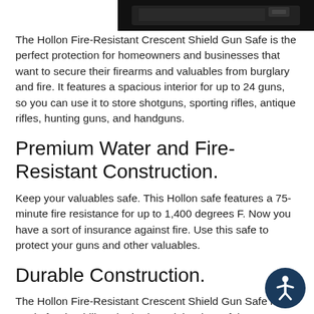[Figure (photo): Partial image of a black gun safe (Hollon Fire-Resistant Crescent Shield) visible at the top right of the page, showing the top portion of the safe against a dark background.]
The Hollon Fire-Resistant Crescent Shield Gun Safe is the perfect protection for homeowners and businesses that want to secure their firearms and valuables from burglary and fire. It features a spacious interior for up to 24 guns, so you can use it to store shotguns, sporting rifles, antique rifles, hunting guns, and handguns.
Premium Water and Fire-Resistant Construction.
Keep your valuables safe. This Hollon safe features a 75-minute fire resistance for up to 1,400 degrees F. Now you have a sort of insurance against fire. Use this safe to protect your guns and other valuables.
Durable Construction.
The Hollon Fire-Resistant Crescent Shield Gun Safe is made for durability. The body and the door of the